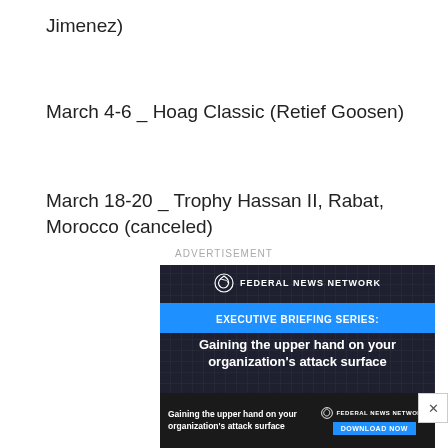Jimenez)
March 4-6 _ Hoag Classic (Retief Goosen)
March 18-20 _ Trophy Hassan II, Rabat, Morocco (canceled)
ADVERTISEMENT
[Figure (photo): Federal News Network advertisement for Executive Briefing Series: Gaining the upper hand on your organization's attack surface. Dark background with circuit board pattern, blue banner, and download now button.]